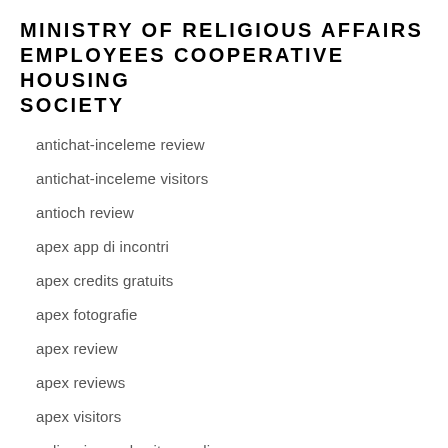MINISTRY OF RELIGIOUS AFFAIRS EMPLOYEES COOPERATIVE HOUSING SOCIETY
antichat-inceleme review
antichat-inceleme visitors
antioch review
apex app di incontri
apex credits gratuits
apex fotografie
apex review
apex reviews
apex visitors
aplicaciones de citas en linea